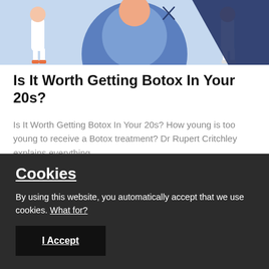[Figure (illustration): Illustrated scene with medical/wellness figures on a blue background — partial view of two human figures in white clothing on either side with a large blue circular shape in the center]
Is It Worth Getting Botox In Your 20s?
Is It Worth Getting Botox In Your 20s? How young is too young to receive a Botox treatment? Dr Rupert Critchley explains everything...
[Figure (photo): Partial view of a close-up face photograph with a purple badge/icon on the left, pink/salmon background]
Cookies
By using this website, you automatically accept that we use cookies. What for?
I Accept